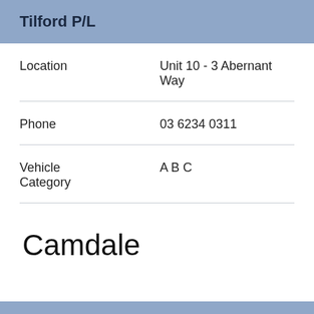Tilford P/L
| Field | Value |
| --- | --- |
| Location | Unit 10 - 3 Abernant Way |
| Phone | 03 6234 0311 |
| Vehicle Category | A B C |
Camdale